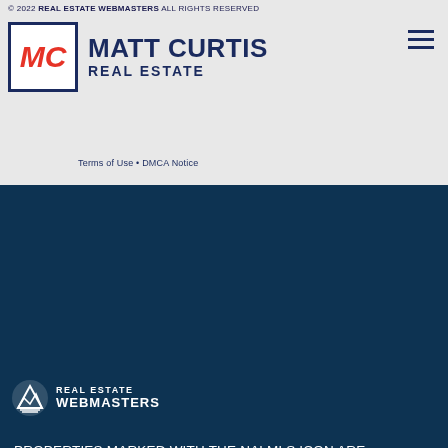© 2022 REAL ESTATE WEBMASTERS ALL RIGHTS RESERVED
[Figure (logo): Matt Curtis Real Estate logo — MC initials in red italic on white box with navy border, beside MATT CURTIS REAL ESTATE text in navy]
Terms of Use • DMCA Notice
[Figure (logo): Real Estate Webmasters logo — mountain/waves icon with REAL ESTATE WEBMASTERS text in white]
PROPERTIES MARKED WITH THE NALMLS ICON ARE PROVIDED COURTESY OF THE NORTH ALABAMA MULTIPLE LISTING SERVICE, INC. (NALMLS) IDX DATABASE. ALL INFORMATION PROVIDED IS DEEMED RELIABLE BUT IS NOT GUARANTEED AND SHOULD BE INDEPENDENTLY VERIFIED. COMPENSATION OFFER IS MADE ONLY TO PARTICIPANTS OF THE MLS WHERE THE LISTING IS FILED. COPYRIGHT NALMLS, INC. LISTING INFORMATION LAST UPDATED ON SEPTEMBER 5TH, 2022 AT 8:40PM CDT.